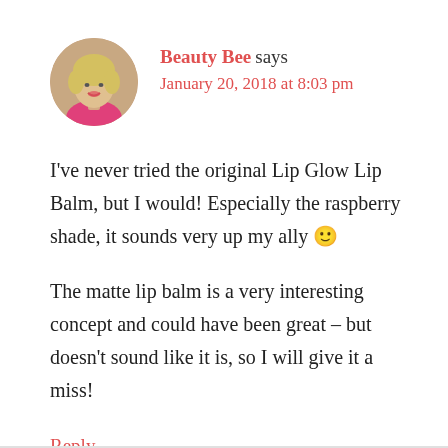[Figure (photo): Avatar photo of a blonde woman wearing a pink top]
Beauty Bee says
January 20, 2018 at 8:03 pm
I've never tried the original Lip Glow Lip Balm, but I would! Especially the raspberry shade, it sounds very up my ally 🙂
The matte lip balm is a very interesting concept and could have been great – but doesn't sound like it is, so I will give it a miss!
Reply